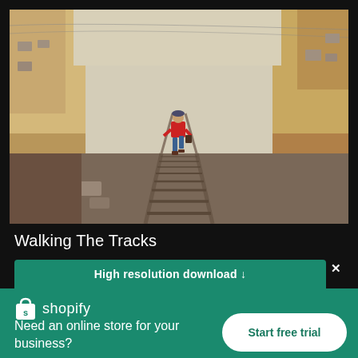[Figure (photo): Person in red shirt walking away on railway tracks between yellow walls and buildings]
Walking The Tracks
High resolution download ↓
[Figure (logo): Shopify logo - white shopping bag icon with 's' and text 'shopify']
Need an online store for your business?
Start free trial